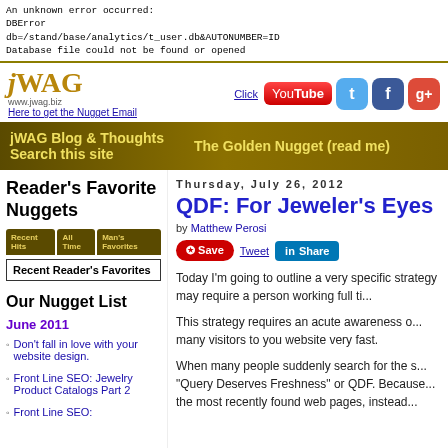An unknown error occurred:
DBError
db=/stand/base/analytics/t_user.db&AUTONUMBER=ID
Database file could not be found or opened
[Figure (logo): jWAG logo with www.jwag.biz and social media icons (YouTube, Twitter, Facebook, Google+)]
Here to get the Nugget Email
jWAG Blog & Thoughts   Search this site   The Golden Nugget (read me)
Reader's Favorite Nuggets
[Figure (screenshot): Tab buttons: Recent Hits, All Time, Man's Favorites]
Recent Reader's Favorites
Our Nugget List
June 2011
Don't fall in love with your website design.
Front Line SEO: Jewelry Product Catalogs Part 2
Front Line SEO:
Thursday, July 26, 2012
QDF: For Jeweler's Eyes O
by Matthew Perosi
Today I'm going to outline a very specific stra... strategy may require a person working full ti...
This strategy requires an acute awareness o... many visitors to you website very fast.
When many people suddenly search for the s... "Query Deserves Freshness" or QDF. Because... the most recently found web pages, instead...